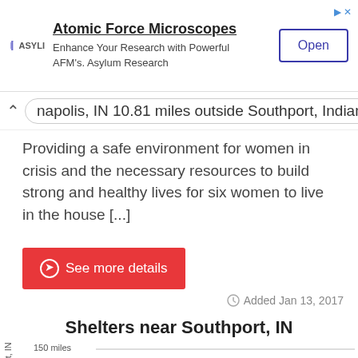[Figure (screenshot): Advertisement banner for Atomic Force Microscopes by Asylum Research with an Open button]
napolis, IN 10.81 miles outside Southport, Indiana
Providing a safe environment for women in crisis and the necessary resources to build strong and healthy lives for six women to live in the house [...]
See more details
Added Jan 13, 2017
Shelters near Southport, IN
[Figure (continuous-plot): Line chart showing shelters near Southport, IN. Y-axis shows distance from Southport IN with labels 150 miles and 100 miles visible. A red line curves upward in the lower right area of the chart.]